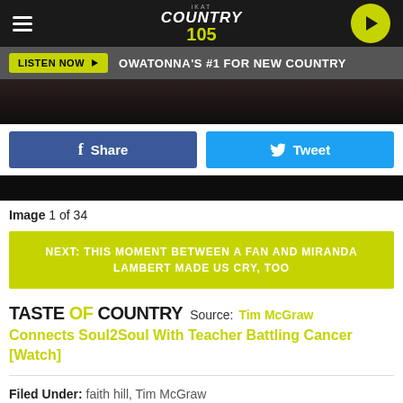KAT Country 105 - OWATONNA'S #1 FOR NEW COUNTRY - LISTEN NOW
[Figure (screenshot): Dark photo strip showing people in black clothing, partial view]
Share | Tweet
[Figure (photo): Dark photo strip bottom portion]
Image 1 of 34
NEXT: THIS MOMENT BETWEEN A FAN AND MIRANDA LAMBERT MADE US CRY, TOO
TASTE OF COUNTRY Source: Tim McGraw Connects Soul2Soul With Teacher Battling Cancer [Watch]
Filed Under: faith hill, Tim McGraw